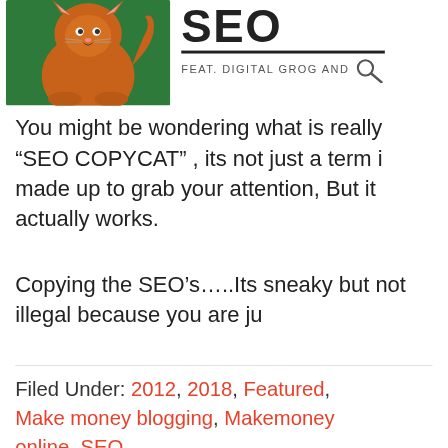[Figure (illustration): Orange cartoon cat sitting on a green background with SEO logo text and 'FEAT. DIGITAL GROG AND' text with magnifying glass icon to the right]
You might be wondering what is really “SEO COPYCAT” , its not just a term i made up to grab your attention, But it actually works.
Copying the SEO’s…..Its sneaky but not illegal because you are ju
Filed Under: 2012, 2018, Featured, Make money blogging, Makemoney online, SEO